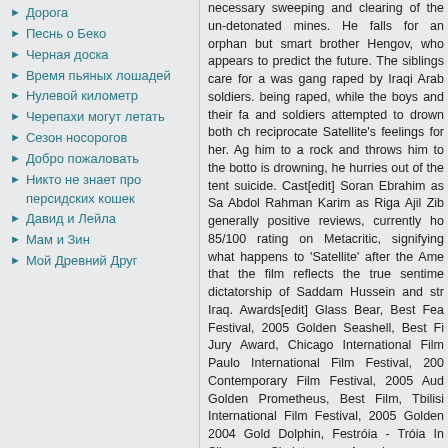Дорога
Песнь о Беко
Черная доска
Время пьяных лошадей
Нулевой километр
Черепахи могут летать
Сезон носорогов
Добро пожаловать
Никто не знает про персидских кошек
Давид и Лейла
Мам и Зин
Мой Древний Друг
necessary sweeping and clearing of the un-detonated mines. He falls for an orphan but smart brother Hengov, who appears to predict the future. The siblings care for a was gang raped by Iraqi Arab soldiers. being raped, while the boys and their fa and soldiers attempted to drown both ch reciprocate Satellite's feelings for her. Ag him to a rock and throws him to the botto is drowning, he hurries out of the tent suicide. Cast[edit] Soran Ebrahim as Sa Abdol Rahman Karim as Riga Ajil Zib generally positive reviews, currently ho 85/100 rating on Metacritic, signifying what happens to 'Satellite' after the Ame that the film reflects the true sentime dictatorship of Saddam Hussein and str Iraq. Awards[edit] Glass Bear, Best Fea Festival, 2005 Golden Seashell, Best Fi Jury Award, Chicago International Film Paulo International Film Festival, 200 Contemporary Film Festival, 2005 Aud Golden Prometheus, Best Film, Tbilisi International Film Festival, 2005 Golden 2004 Gold Dolphin, Festróia - Tróia In Silver Skeleton Award
[Figure (photo): Black rectangle/image at the bottom of the right column]